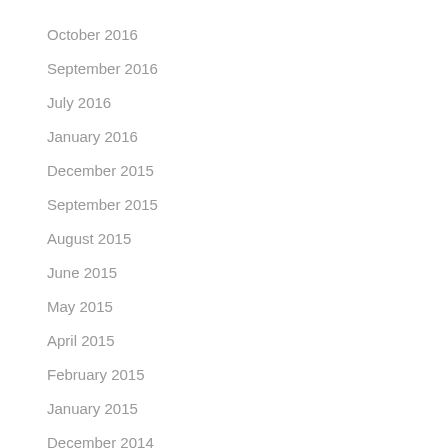October 2016
September 2016
July 2016
January 2016
December 2015
September 2015
August 2015
June 2015
May 2015
April 2015
February 2015
January 2015
December 2014
September 2014